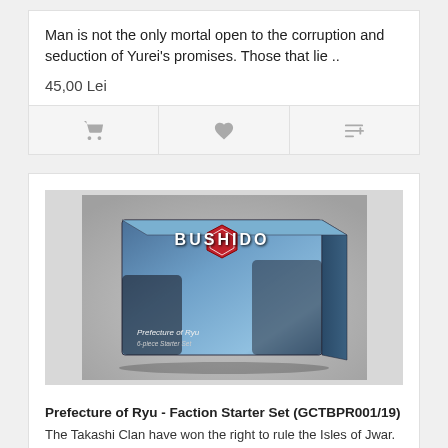Man is not the only mortal open to the corruption and seduction of Yurei's promises. Those that lie ..
45,00 Lei
[Figure (photo): Bushido board game box - Prefecture of Ryu Faction Starter Set, showing armored warriors on the cover with a blue sky background and the Bushido logo]
Prefecture of Ryu - Faction Starter Set (GCTBPR001/19)
The Takashi Clan have won the right to rule the Isles of Jwar. Despite the defeat of their sworn ene